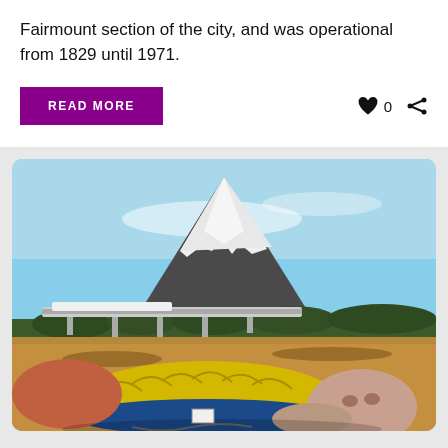Fairmount section of the city, and was operational from 1829 until 1971.
READ MORE
[Figure (photo): A large fallen or lying-down colorful statue or figure in the foreground, with Mount Fuji snow-capped in the background under a blue sky, and a highway viaduct visible in the middle distance. Dry grass fields surround the scene.]